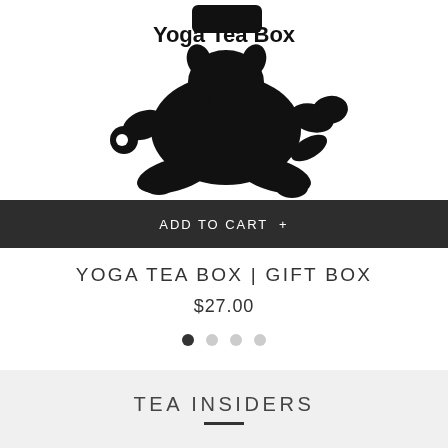[Figure (logo): Yoga Tea Box logo: black silhouette of a meditating pig in lotus position, with text 'Yoga Tea Box' above it]
ADD TO CART +
YOGA TEA BOX | GIFT BOX
$27.00
[Figure (other): Carousel pagination dots: four dots, first one filled/active (dark), three inactive (light gray)]
TEA INSIDERS